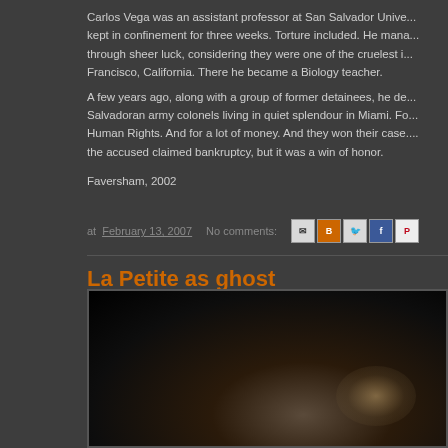Carlos Vega was an assistant professor at San Salvador Unive... kept in confinement for three weeks. Torture included. He mana... through sheer luck, considering they were one of the cruelest i... Francisco, California. There he became a Biology teacher.
A few years ago, along with a group of former detainees, he de... Salvadoran army colonels living in quiet splendour in Miami. Fo... Human Rights. And for a lot of money. And they won their case.... the accused claimed bankruptcy, but it was a win of honor.
Faversham, 2002
at February 13, 2007   No comments:
La Petite as ghost
[Figure (photo): Dark photograph, mostly black with some warm brownish tones in the lower right area suggesting a partially lit subject against a very dark background.]